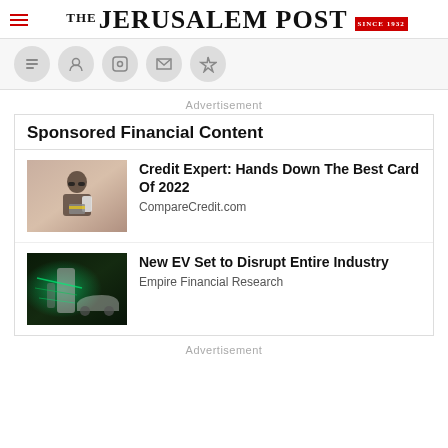THE JERUSALEM POST
Advertisement
Sponsored Financial Content
[Figure (photo): Woman with sunglasses holding phone and credit card]
Credit Expert: Hands Down The Best Card Of 2022
CompareCredit.com
[Figure (photo): Electric vehicle charging station with green lighting]
New EV Set to Disrupt Entire Industry
Empire Financial Research
Advertisement